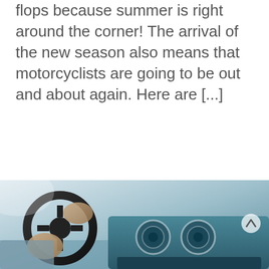flops because summer is right around the corner! The arrival of the new season also means that motorcyclists are going to be out and about again. Here are [...]
READ MORE
[Figure (photo): Interior view of a car showing a person's hands on the steering wheel and the dashboard with circular vents, taken from passenger side perspective.]